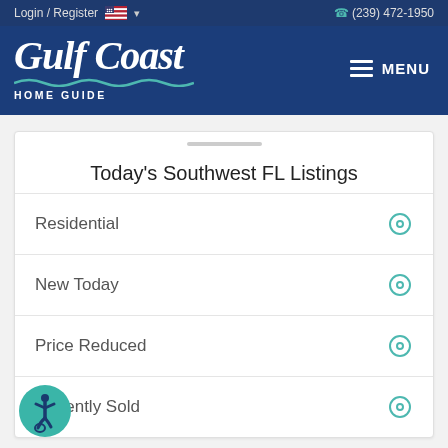Login / Register  (239) 472-1950
Gulf Coast HOME GUIDE
Today's Southwest FL Listings
Residential
New Today
Price Reduced
Recently Sold